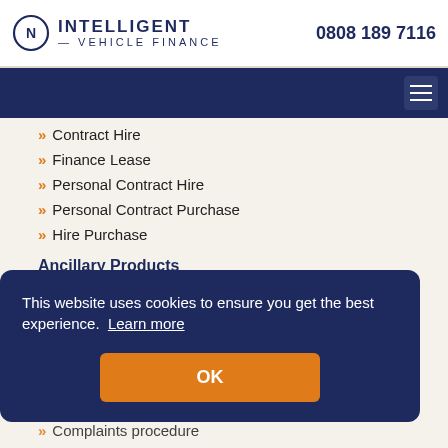Intelligent Vehicle Finance — 0808 189 7116
Contract Hire
Finance Lease
Personal Contract Hire
Personal Contract Purchase
Hire Purchase
Ancillary Products
GAP Insurance
Tyres & Servicing
This website uses cookies to ensure you get the best experience. Learn more
OK
Complaints procedure
Outstanding...